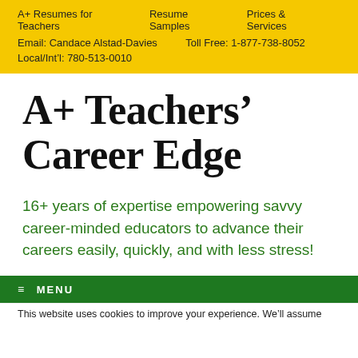A+ Resumes for Teachers   Resume Samples   Prices & Services   Email: Candace Alstad-Davies   Toll Free: 1-877-738-8052   Local/Int'l: 780-513-0010
A+ Teachers’ Career Edge
16+ years of expertise empowering savvy career-minded educators to advance their careers easily, quickly, and with less stress!
≡ MENU
This website uses cookies to improve your experience. We’ll assume